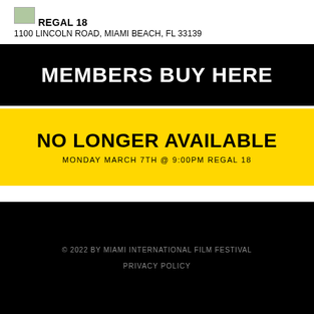[Figure (logo): Small image placeholder (broken image icon) above REGAL 18 venue name]
REGAL 18
1100 LINCOLN ROAD, MIAMI BEACH, FL 33139
MEMBERS BUY HERE
NO LONGER AVAILABLE
MONDAY MARCH 7TH @ 9:00PM REGAL 18
© 2022 BY MIAMI INTERNATIONAL FILM FESTIVAL
PRIVACY POLICY